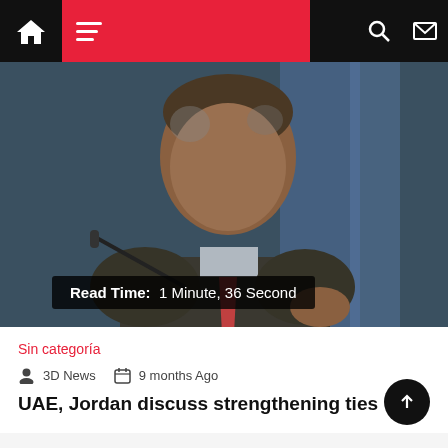Navigation bar with home icon, hamburger menu, moon icon, search icon, mail icon
[Figure (photo): A man in a dark suit with a red tie, appearing to speak at an event with a microphone visible]
Read Time: 1 Minute, 36 Second
Sin categoría
3D News  9 months Ago
UAE, Jordan discuss strengthening ties